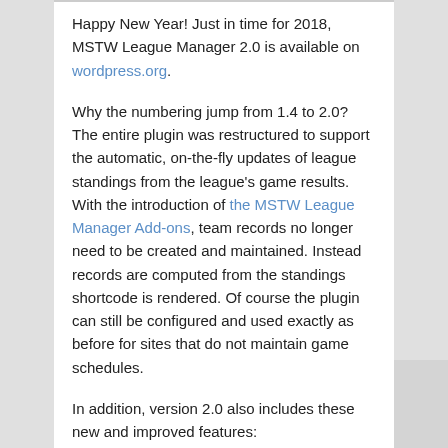Happy New Year! Just in time for 2018, MSTW League Manager 2.0 is available on wordpress.org.
Why the numbering jump from 1.4 to 2.0? The entire plugin was restructured to support the automatic, on-the-fly updates of league standings from the league's game results. With the introduction of the MSTW League Manager Add-ons, team records no longer need to be created and maintained. Instead records are computed from the standings shortcode is rendered. Of course the plugin can still be configured and used exactly as before for sites that do not maintain game schedules.
In addition, version 2.0 also includes these new and improved features:
The standings are now sorted based on a primary sort rule and two tie-breakers, which are selected on the Settings screen. AND they actually work!!